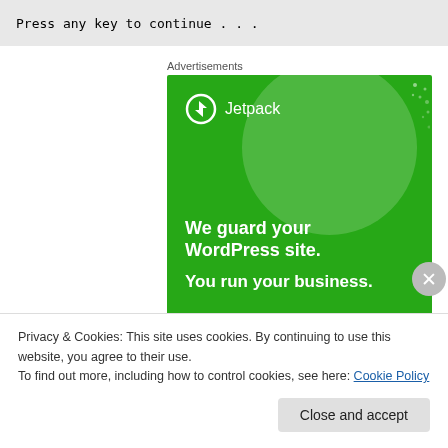Press any key to continue . . .
Advertisements
[Figure (illustration): Jetpack advertisement banner with green background. Shows Jetpack logo (lightning bolt in circle) and brand name at top left. Large semi-transparent circle in upper right. Text reads: 'We guard your WordPress site. You run your business.']
Privacy & Cookies: This site uses cookies. By continuing to use this website, you agree to their use.
To find out more, including how to control cookies, see here: Cookie Policy
Close and accept